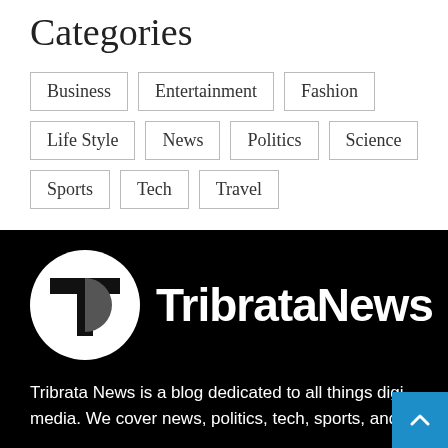Categories
Business
Entertainment
Fashion
Life Style
News
Politics
Science
Sports
Tech
Travel
[Figure (logo): TribrataNews logo: white circle with T icon on black background, next to bold white text 'TribrataNews']
Tribrata News is a blog dedicated to all things digi media. We cover news, politics, tech, sports, and